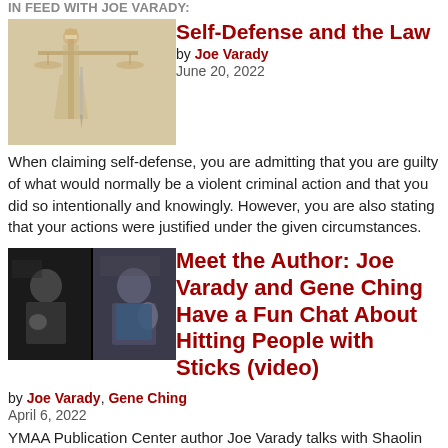IN FEED WITH JOE VARADY
[Figure (photo): Statue of Lady Justice holding scales and sword, gold-toned against blurred background]
Self-Defense and the Law
by Joe Varady
June 20, 2022
When claiming self-defense, you are admitting that you are guilty of what would normally be a violent criminal action and that you did so intentionally and knowingly. However, you are also stating that your actions were justified under the given circumstances.
[Figure (screenshot): Split screen video with two people on a video call - one on left and one on right waving hand]
Meet the Author: Joe Varady and Gene Ching Have a Fun Chat About Hitting People with Sticks (video)
by Joe Varady, Gene Ching
April 6, 2022
YMAA Publication Center author Joe Varady talks with Shaolin staff practitioner Gene Ching about his new video series The Art and Science of Staff Fighting, his method of cross-training many martial arts MMA (Historical European Martial Arts) and the quality of